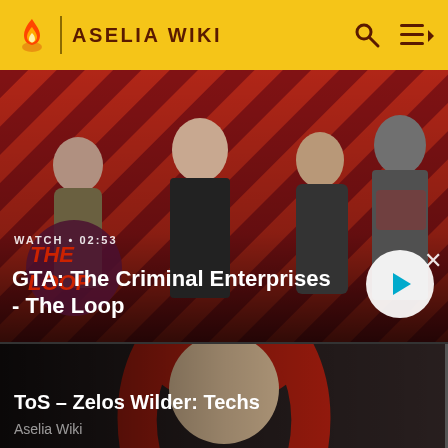ASELIA WIKI
[Figure (screenshot): GTA: The Criminal Enterprises - The Loop video thumbnail showing four characters on a red diagonal-striped background with a play button and WATCH 02:53 label]
WATCH • 02:53
GTA: The Criminal Enterprises - The Loop
[Figure (screenshot): ToS - Zelos Wilder: Techs video thumbnail showing an anime girl with long red hair]
ToS – Zelos Wilder: Techs
Aselia Wiki